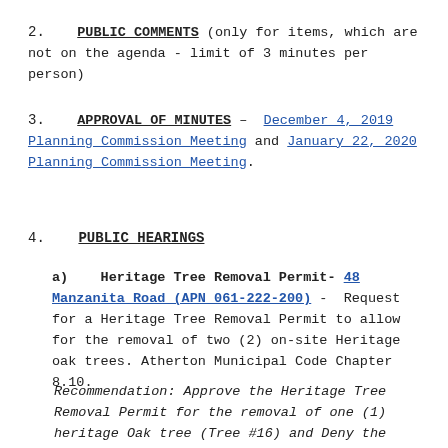2. PUBLIC COMMENTS (only for items, which are not on the agenda - limit of 3 minutes per person)
3. APPROVAL OF MINUTES – December 4, 2019 Planning Commission Meeting and January 22, 2020 Planning Commission Meeting.
4. PUBLIC HEARINGS
a) Heritage Tree Removal Permit- 48 Manzanita Road (APN 061-222-200) - Request for a Heritage Tree Removal Permit to allow for the removal of two (2) on-site Heritage oak trees. Atherton Municipal Code Chapter 8.10.
Recommendation: Approve the Heritage Tree Removal Permit for the removal of one (1) heritage Oak tree (Tree #16) and Deny the